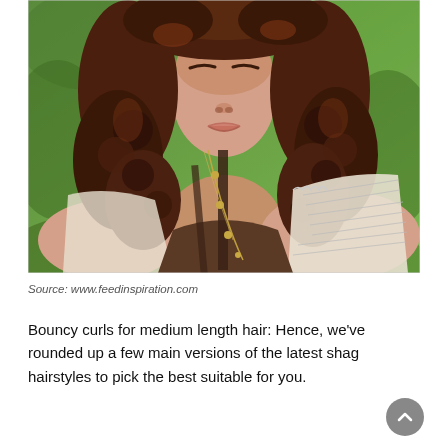[Figure (photo): Portrait photo of a woman with voluminous bouncy curls for medium length hair. She is wearing a brown top and white crocheted vest with a long gold necklace. Green foliage is visible in the background.]
Source: www.feedinspiration.com
Bouncy curls for medium length hair: Hence, we've rounded up a few main versions of the latest shag hairstyles to pick the best suitable for you.